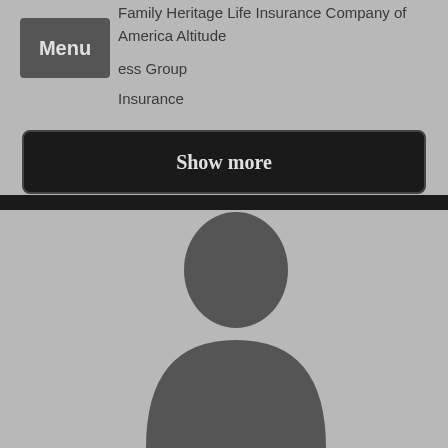Family Heritage Life Insurance Company of America Altitude
ess Group
Insurance
Menu
Show more
[Figure (photo): Silhouette of a person against a grey background, cropped at bottom of frame]